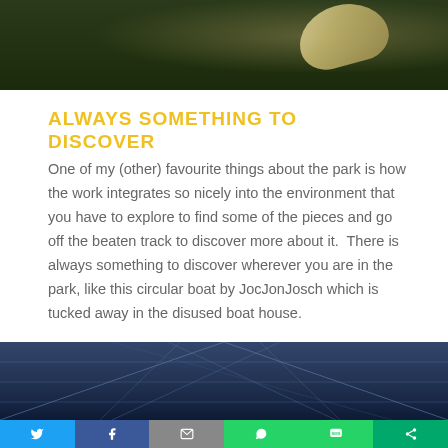[Figure (photo): Top portion of an outdoor photo showing dark green foliage and a pale hat or flower shape, partially cropped]
ALWAYS SOMETHING TO DISCOVER
One of my (other) favourite things about the park is how the work integrates so nicely into the environment that you have to explore to find some of the pieces and go off the beaten track to discover more about it.  There is always something to discover wherever you are in the park, like this circular boat by JocJonJosch which is tucked away in the disused boat house.
[Figure (photo): Bottom portion of a photo showing a blue-tinted structural grid or lattice viewed from below, with crossing beams forming X patterns]
Twitter | Facebook | Email | WhatsApp | SMS | Share